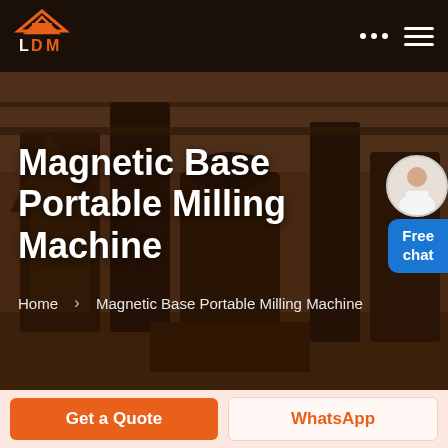[Figure (logo): LDM logo with house/roof icon in orange and white on dark background]
Magnetic Base Portable Milling Machine
Home > Magnetic Base Portable Milling Machine
[Figure (photo): Industrial factory interior with large machinery and steel structures, with dark brown overlay]
[Figure (illustration): Chat widget with customer service avatar and Free chat button in blue]
Get a Quote
WhatsApp